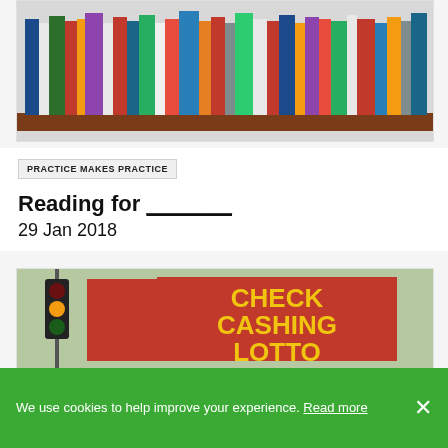[Figure (photo): A bookshelf filled with colorful books of various sizes lined up vertically on a wooden shelf]
PRACTICE MAKES PRACTICE
Reading for _______
29 Jan 2018
[Figure (photo): Street scene showing a red building with large yellow text reading CHECK CASHING LOTTO, with a traffic light visible on the left]
We use cookies to help improve your experience. Read more